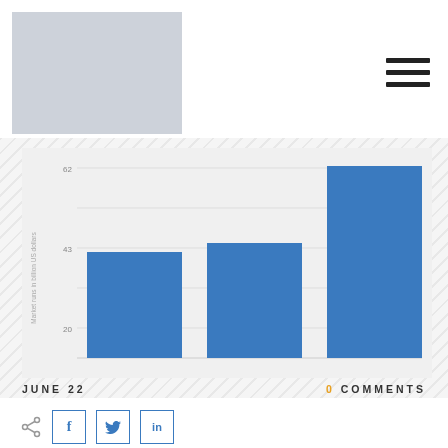[Figure (photo): Light gray placeholder image/logo in the top left of the page]
[Figure (other): Hamburger menu icon (three horizontal lines) in the top right]
[Figure (bar-chart): Bar chart with three blue bars on a light gray background]
JUNE 22
0 COMMENTS
[Figure (other): Social share icons: share symbol, Facebook, Twitter, LinkedIn]